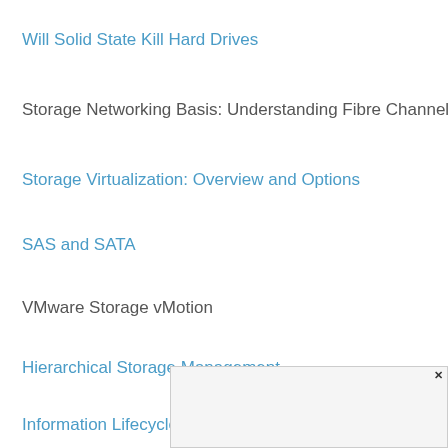Will Solid State Kill Hard Drives
Storage Networking Basis: Understanding Fibre Channel
Storage Virtualization: Overview and Options
SAS and SATA
VMware Storage vMotion
Hierarchical Storage Management
Information Lifecycle Management
RAM Clouds
EMC EAS